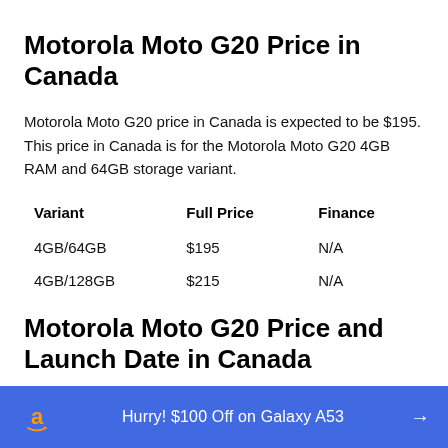Motorola Moto G20 Price in Canada
Motorola Moto G20 price in Canada is expected to be $195. This price in Canada is for the Motorola Moto G20 4GB RAM and 64GB storage variant.
| Variant | Full Price | Finance |
| --- | --- | --- |
| 4GB/64GB | $195 | N/A |
| 4GB/128GB | $215 | N/A |
Motorola Moto G20 Price and Launch Date in Canada
Price $195
Hurry! $100 Off on Galaxy A53